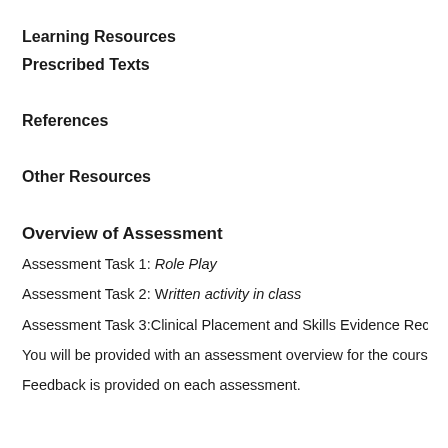Learning Resources
Prescribed Texts
References
Other Resources
Overview of Assessment
Assessment Task 1: Role Play
Assessment Task 2: Written activity in class
Assessment Task 3:Clinical Placement and Skills Evidence Reco
You will be provided with an assessment overview for the course
Feedback is provided on each assessment.